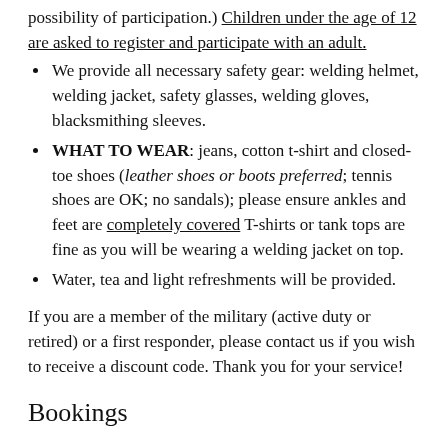possibility of participation.) Children under the age of 12 are asked to register and participate with an adult.
We provide all necessary safety gear: welding helmet, welding jacket, safety glasses, welding gloves, blacksmithing sleeves.
WHAT TO WEAR: jeans, cotton t-shirt and closed-toe shoes (leather shoes or boots preferred; tennis shoes are OK; no sandals); please ensure ankles and feet are completely covered T-shirts or tank tops are fine as you will be wearing a welding jacket on top.
Water, tea and light refreshments will be provided.
If you are a member of the military (active duty or retired) or a first responder, please contact us if you wish to receive a discount code. Thank you for your service!
Bookings